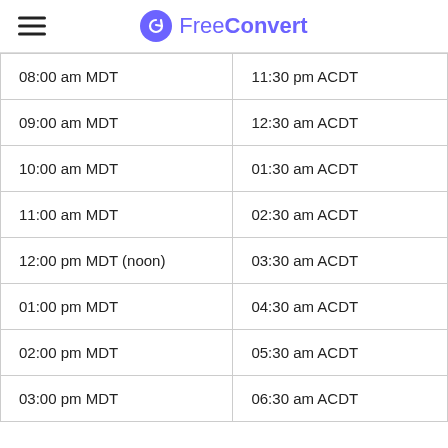FreeConvert
| 08:00 am MDT | 11:30 pm ACDT |
| 09:00 am MDT | 12:30 am ACDT |
| 10:00 am MDT | 01:30 am ACDT |
| 11:00 am MDT | 02:30 am ACDT |
| 12:00 pm MDT (noon) | 03:30 am ACDT |
| 01:00 pm MDT | 04:30 am ACDT |
| 02:00 pm MDT | 05:30 am ACDT |
| 03:00 pm MDT | 06:30 am ACDT |